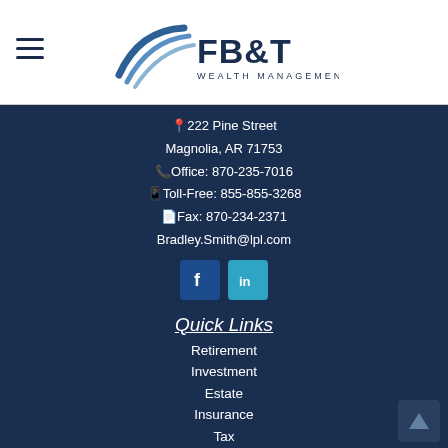[Figure (logo): FB&T Wealth Management logo with stylized swoosh/feather icon in blue and grey, text 'FB&T' large and 'WEALTH MANAGEMENT' below in smaller caps]
📍222 Pine Street
Magnolia, AR 71753
📞Office: 870-235-7016
⬜Toll-Free: 855-855-3268
📠Fax: 870-234-2371
Bradley.Smith@lpl.com
[Figure (infographic): Facebook icon button (dark blue square with white 'f') and LinkedIn icon button (teal square with white 'in')]
Quick Links
Retirement
Investment
Estate
Insurance
Tax
Money
Lifestyle
All Articles
All Videos